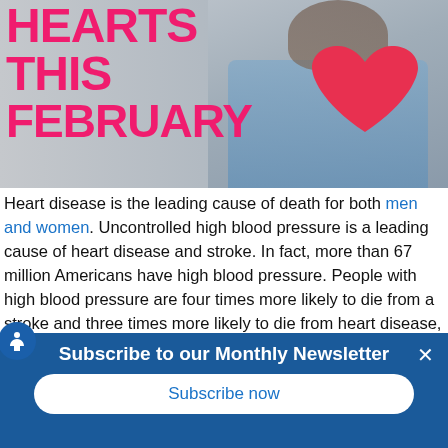[Figure (photo): Hero banner showing a man holding a large red heart cutout, with bold pink/red text reading HEARTS THIS FEBRUARY on the left side, against a gray background.]
Heart disease is the leading cause of death for both men and women. Uncontrolled high blood pressure is a leading cause of heart disease and stroke. In fact, more than 67 million Americans have high blood pressure. People with high blood pressure are four times more likely to die from a stroke and three times more likely to die from heart disease, compared to those with normal blood pressure.
Subscribe to our Monthly Newsletter
Subscribe now